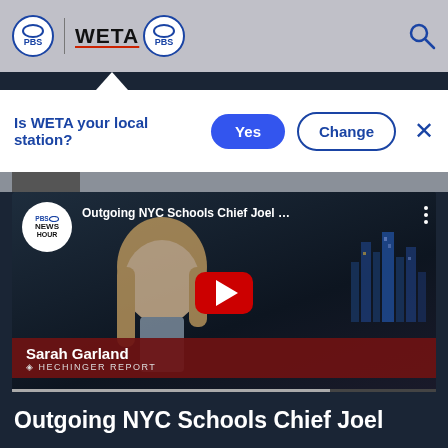PBS | WETA PBS
Is WETA your local station?
Yes
Change
[Figure (screenshot): YouTube video thumbnail showing a PBS NewsHour video titled 'Outgoing NYC Schools Chief Joel ...' with a woman (Sarah Garland, Hechinger Report) in front of a city skyline at night. Red play button in center.]
Outgoing NYC Schools Chief Joel